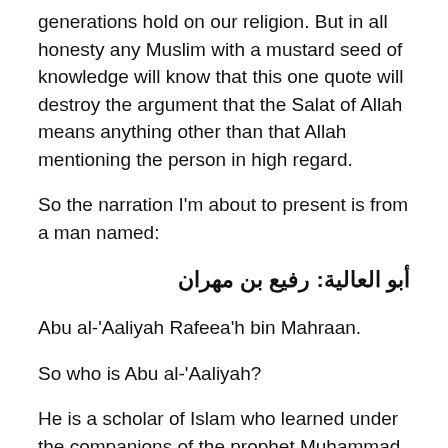generations hold on our religion. But in all honesty any Muslim with a mustard seed of knowledge will know that this one quote will destroy the argument that the Salat of Allah means anything other than that Allah mentioning the person in high regard.
So the narration I'm about to present is from a man named:
أبو العالية: رفيع بن مهران
Abu al-'Aaliyah Rafeea'h bin Mahraan.
So who is Abu al-'Aaliyah?
He is a scholar of Islam who learned under the companions of the prophet Muhammad (pbuh). He was born during the lifetime of the prophet Muhammad (saws) but since he was young he didn't